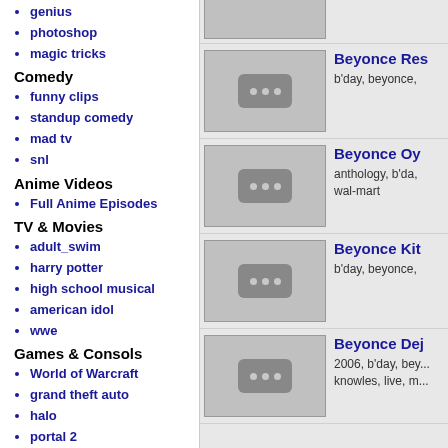genius
photoshop
magic tricks
Comedy
funny clips
standup comedy
mad tv
snl
Anime Videos
Full Anime Episodes
TV & Movies
adult_swim
harry potter
high school musical
american idol
wwe
Games & Consols
World of Warcraft
grand theft auto
halo
portal 2
final fantasy
xbox
wii
nintendo DS
[Figure (screenshot): Video thumbnail placeholder with three dots]
Beyonce Res...
b'day, beyonce,
[Figure (screenshot): Video thumbnail placeholder with three dots]
Beyonce Oy...
anthology, b'da, wal-mart
[Figure (screenshot): Video thumbnail placeholder with three dots]
Beyonce Kit...
b'day, beyonce,
[Figure (screenshot): Video thumbnail placeholder with three dots]
Beyonce Dej...
2006, b'day, bey... knowles, live, m...